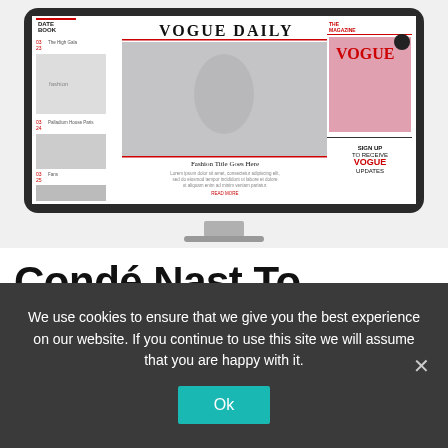[Figure (screenshot): Screenshot of Vogue Daily website displayed on a desktop monitor. The website shows the Vogue Daily header, a fashion photo of a woman in sunglasses, a datebook section on the left, and a magazine subscription panel on the right.]
Condé Nast To Transform Style.com Into E-Commerce
We use cookies to ensure that we give you the best experience on our website. If you continue to use this site we will assume that you are happy with it.